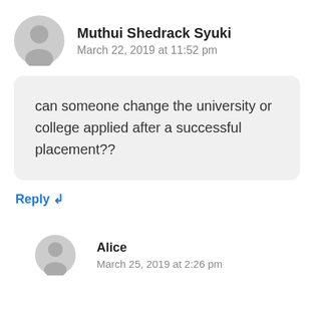Muthui Shedrack Syuki
March 22, 2019 at 11:52 pm
can someone change the university or college applied after a successful placement??
Reply ↲
Alice
March 25, 2019 at 2:26 pm